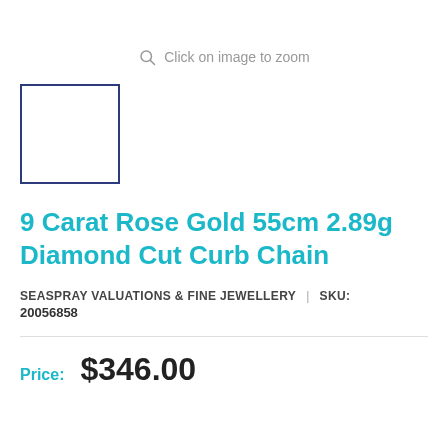Click on image to zoom
[Figure (photo): Small thumbnail image placeholder with navy blue border, white interior, representing product image thumbnail]
9 Carat Rose Gold 55cm 2.89g Diamond Cut Curb Chain
SEASPRAY VALUATIONS & FINE JEWELLERY | SKU: 20056858
Price: $346.00